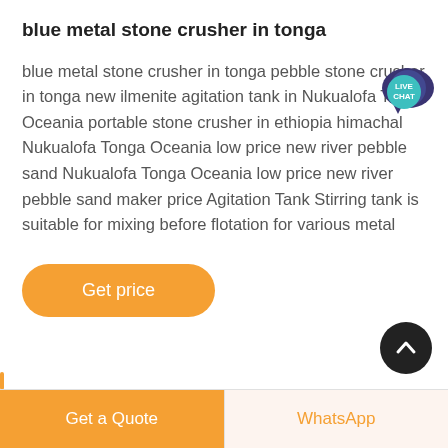blue metal stone crusher in tonga
blue metal stone crusher in tonga pebble stone crusher in tonga new ilmenite agitation tank in Nukualofa Tonga Oceania portable stone crusher in ethiopia himachal Nukualofa Tonga Oceania low price new river pebble sand Nukualofa Tonga Oceania low price new river pebble sand maker price Agitation Tank Stirring tank is suitable for mixing before flotation for various metal
[Figure (other): Live Chat speech bubble badge with teal/dark blue color and white text reading LIVE CHAT]
[Figure (other): Orange rounded rectangle button labeled Get price]
[Figure (other): Black circular scroll-to-top button with upward chevron arrow]
Get a Quote | WhatsApp